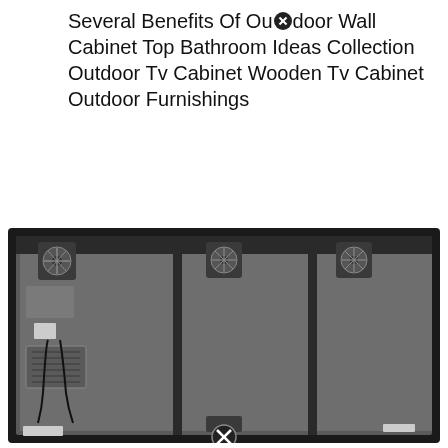Several Benefits Of Outdoor Wall Cabinet Top Bathroom Ideas Collection Outdoor Tv Cabinet Wooden Tv Cabinet Outdoor Furnishings
[Figure (photo): Back view of a large black outdoor TV cabinet enclosure showing the interior back panel with three cooling fans mounted at the top, electrical components and wiring on the left side, and mounting hardware. The cabinet has a black frame and dark gray interior. A close button icon appears at the bottom center.]